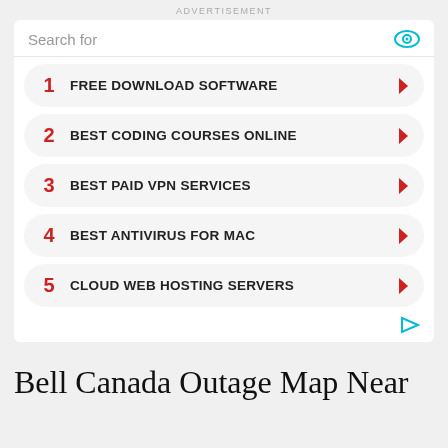ADVERTISEMENT
1  FREE DOWNLOAD SOFTWARE
2  BEST CODING COURSES ONLINE
3  BEST PAID VPN SERVICES
4  BEST ANTIVIRUS FOR MAC
5  CLOUD WEB HOSTING SERVERS
Bell Canada Outage Map Near